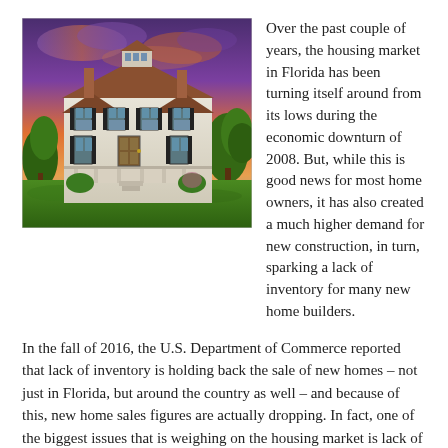[Figure (photo): Photograph of a large white Victorian-style house with a wraparound porch, black shutters, multiple chimneys, and a dramatic purple and orange sunset sky with green trees and lawn in the foreground.]
Over the past couple of years, the housing market in Florida has been turning itself around from its lows during the economic downturn of 2008. But, while this is good news for most home owners, it has also created a much higher demand for new construction, in turn, sparking a lack of inventory for many new home builders.
In the fall of 2016, the U.S. Department of Commerce reported that lack of inventory is holding back the sale of new homes – not just in Florida, but around the country as well – and because of this, new home sales figures are actually dropping. In fact, one of the biggest issues that is weighing on the housing market is lack of both existing and new home sales.